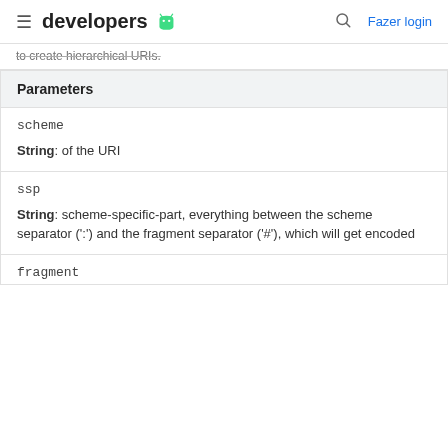developers [android logo] [search] Fazer login
to create hierarchical URIs.
| Parameters |
| --- |
| scheme | String: of the URI |
| ssp | String: scheme-specific-part, everything between the scheme separator (':') and the fragment separator ('#'), which will get encoded |
| fragment |  |